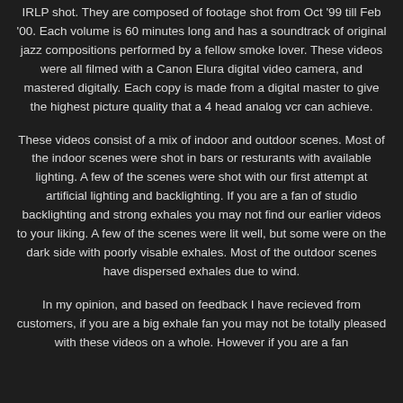IRLP shot. They are composed of footage shot from Oct '99 till Feb '00. Each volume is 60 minutes long and has a soundtrack of original jazz compositions performed by a fellow smoke lover. These videos were all filmed with a Canon Elura digital video camera, and mastered digitally. Each copy is made from a digital master to give the highest picture quality that a 4 head analog vcr can achieve.
These videos consist of a mix of indoor and outdoor scenes. Most of the indoor scenes were shot in bars or resturants with available lighting. A few of the scenes were shot with our first attempt at artificial lighting and backlighting. If you are a fan of studio backlighting and strong exhales you may not find our earlier videos to your liking. A few of the scenes were lit well, but some were on the dark side with poorly visable exhales. Most of the outdoor scenes have dispersed exhales due to wind.
In my opinion, and based on feedback I have recieved from customers, if you are a big exhale fan you may not be totally pleased with these videos on a whole. However if you are a fan